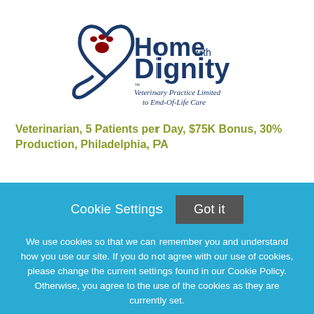[Figure (logo): Home with Dignity logo — a blue hand-drawn heart outline with a red paw print inside, text 'Home with Dignity' in dark blue, subtitle 'Veterinary Practice Limited to End-Of-Life Care' in dark blue italic]
Veterinarian, 5 Patients per Day, $75K Bonus, 30% Production, Philadelphia, PA
Cookie Settings   Got it
We use cookies so that we can remember you and understand how you use our site. If you do not agree with our use of cookies, please change the current settings found in our Cookie Policy. Otherwise, you agree to the use of the cookies as they are currently set.